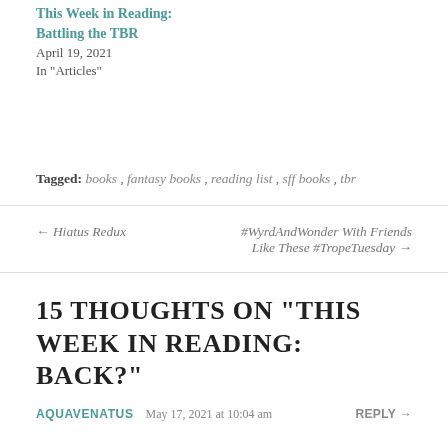This Week in Reading: Battling the TBR
April 19, 2021
In "Articles"
Tagged: books, fantasy books, reading list, sff books, tbr
← Hiatus Redux
#WyrdAndWonder With Friends Like These #TropeTuesday →
15 THOUGHTS ON "THIS WEEK IN READING: BACK?"
AQUAVENATUS   May 17, 2021 at 10:04 am   REPLY →